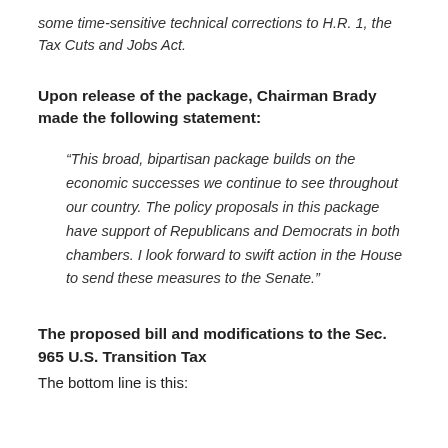some time-sensitive technical corrections to H.R. 1, the Tax Cuts and Jobs Act.
Upon release of the package, Chairman Brady made the following statement:
“This broad, bipartisan package builds on the economic successes we continue to see throughout our country. The policy proposals in this package have support of Republicans and Democrats in both chambers. I look forward to swift action in the House to send these measures to the Senate.”
The proposed bill and modifications to the Sec. 965 U.S. Transition Tax
The bottom line is this: